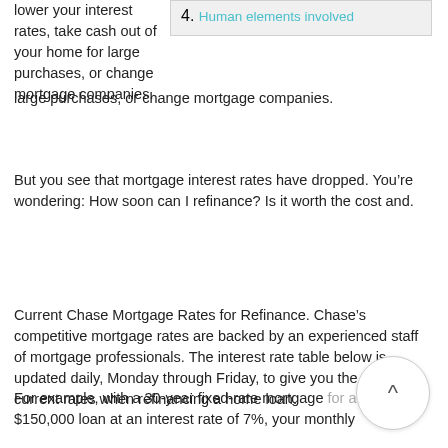lower your interest rates, take cash out of your home for large purchases, or change mortgage companies.
4. Human elements involved
But you see that mortgage interest rates have dropped. You’re wondering: How soon can I refinance? Is it worth the cost and.
Current Chase Mortgage Rates for Refinance. Chase’s competitive mortgage rates are backed by an experienced staff of mortgage professionals. The interest rate table below is updated daily, Monday through Friday, to give you the most current rates when refinancing a home loan.
For example, with a 30-year fixed-rate mortgage for a $150,000 loan at an interest rate of 7%, your monthly